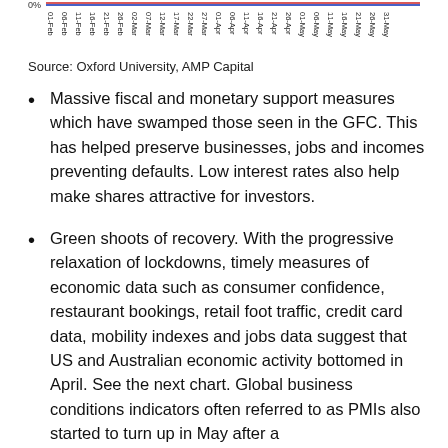[Figure (continuous-plot): Partial bottom of a line chart showing date axis labels from 01-Feb through 31-May with rotated tick labels. The top portion shows a 0% axis line with colored lines partially visible.]
Source: Oxford University, AMP Capital
Massive fiscal and monetary support measures which have swamped those seen in the GFC. This has helped preserve businesses, jobs and incomes preventing defaults. Low interest rates also help make shares attractive for investors.
Green shoots of recovery. With the progressive relaxation of lockdowns, timely measures of economic data such as consumer confidence, restaurant bookings, retail foot traffic, credit card data, mobility indexes and jobs data suggest that US and Australian economic activity bottomed in April. See the next chart. Global business conditions indicators often referred to as PMIs also started to turn up in May after a